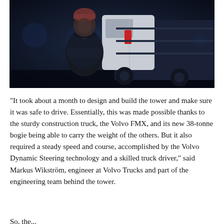[Figure (photo): A man in a dark winter jacket and beanie stands with arms crossed in front of a large Volvo FMX construction truck at night, lit with dramatic blue lighting.]
"It took about a month to design and build the tower and make sure it was safe to drive. Essentially, this was made possible thanks to the sturdy construction truck, the Volvo FMX, and its new 38-tonne bogie being able to carry the weight of the others. But it also required a steady speed and course, accomplished by the Volvo Dynamic Steering technology and a skilled truck driver," said Markus Wikström, engineer at Volvo Trucks and part of the engineering team behind the tower.
So, the...